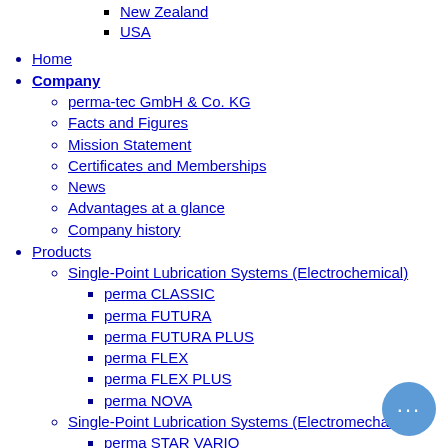New Zealand
USA
Home
Company
perma-tec GmbH & Co. KG
Facts and Figures
Mission Statement
Certificates and Memberships
News
Advantages at a glance
Company history
Products
Single-Point Lubrication Systems (Electrochemical)
perma CLASSIC
perma FUTURA
perma FUTURA PLUS
perma FLEX
perma FLEX PLUS
perma NOVA
Single-Point Lubrication Systems (Electromechanical)
perma STAR VARIO
perma STAR CONTROL
perma ULTRA
Multi-Point Lubrication Systems (Electromechanical)
perma PRO MP 6